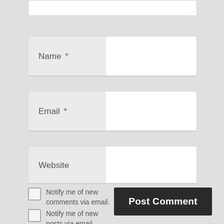[Figure (screenshot): A web comment form showing a textarea at the top (partially visible), followed by Name, Email, and Website input fields with labels on the left side. Below are two checkboxes labeled 'Notify me of new comments via email.' and 'Notify me of new posts via email.' On the right is a dark 'Post Comment' button.]
Name *
Email *
Website
Notify me of new comments via email.
Notify me of new posts via email.
Post Comment